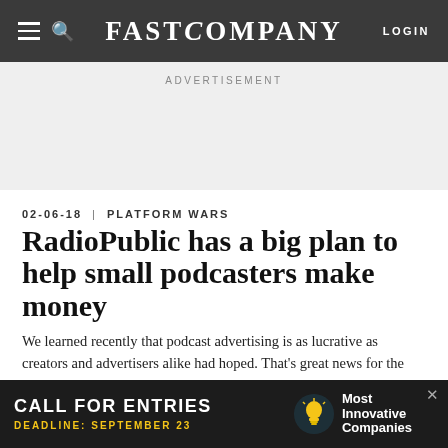FAST COMPANY | LOGIN
ADVERTISEMENT
02-06-18 | PLATFORM WARS
RadioPublic has a big plan to help small podcasters make money
We learned recently that podcast advertising is as lucrative as creators and advertisers alike had hoped. That's great news for the industry—but many, many podcasts are niche, under-the-radar passion projects that don't have the benefits of large audiences already
[Figure (advertisement): Bottom banner advertisement: dark background, 'CALL FOR ENTRIES' in white bold text, 'DEADLINE: SEPTEMBER 23' in yellow, light bulb icon, 'Most Innovative Companies' text in white]